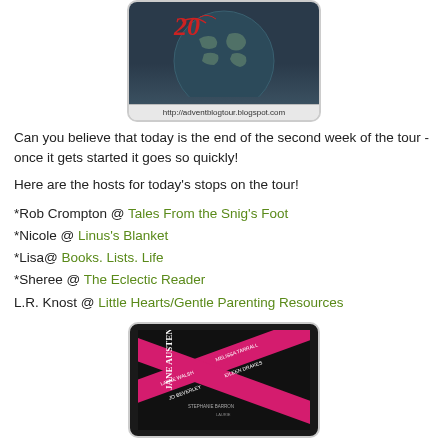[Figure (illustration): Blog tour logo showing a globe with decorative script '20' and URL http://adventblogtour.blogspot.com, displayed in a rounded rectangle frame]
Can you believe that today is the end of the second week of the tour - once it gets started it goes so quickly!
Here are the hosts for today's stops on the tour!
*Rob Crompton @ Tales From the Snig's Foot
*Nicole @ Linus's Blanket
*Lisa@ Books. Lists. Life
*Sheree @ The Eclectic Reader
L.R. Knost @ Little Hearts/Gentle Parenting Resources
[Figure (photo): Book cover for a Jane Austen related book, showing pink diagonal ribbon bands across a dark background with author names printed on the ribbons]